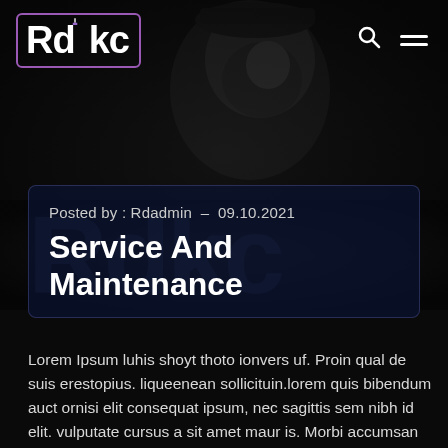[Figure (photo): Black and white photo of a bearded man wearing a cap, looking upward, dark background]
Rdkc
Posted by : Rdadmin  –  09.10.2021
Service And Maintenance
Lorem Ipsum luhis shoyt thoto ionvers uf. Proin qual de suis erestopius. liqueenean sollicituin.lorem quis bibendum auct ornisi elit consequat ipsum, nec sagittis sem nibh id elit. vulputate cursus a sit amet maur is. Morbi accumsan ipsum velit. Nam nec tellus a odio tincidunt auctor a ornare. Sed non mauris vitae erat consequat aue tersu in